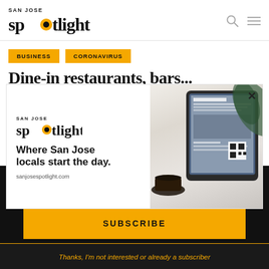SAN JOSE spotlight
BUSINESS
CORONAVIRUS
Dine-in restaurants, bars...
[Figure (screenshot): San Jose Spotlight advertisement popup showing logo, tagline 'Where San Jose locals start the day.' and sanjosespotlight.com URL, with a tablet/coffee image on the right side.]
EMAIL ADDRESS
SUBSCRIBE
Thanks, I'm not interested or already a subscriber